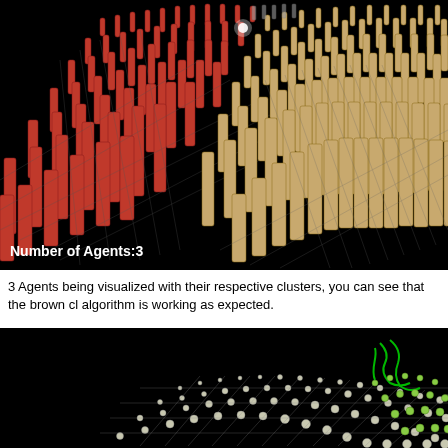[Figure (illustration): 3D visualization of agent clusters on a black background. Red/crimson colored cylindrical rods arranged in a grid pattern on the left side, and brown/tan colored cylindrical rods on the right side, showing two distinct cluster regions. A white label in the lower left reads 'Number of Agents:3'.]
3 Agents being visualized with their respective clusters, you can see that the brown cluster is separate from the red cluster, this shows that the algorithm is working as expected.
[Figure (illustration): 3D visualization on black background showing a sparse grid of small white/gray cylindrical objects with green curved lines/paths visible in the upper right area, representing agent movement or paths.]